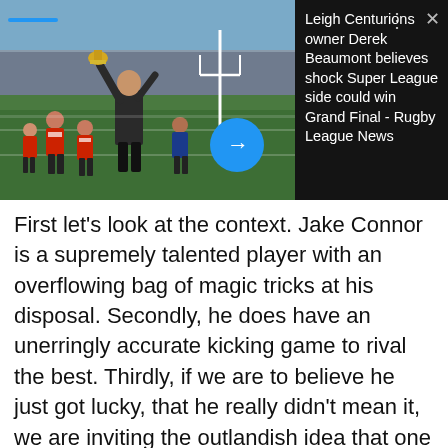[Figure (photo): Rugby league celebration photo showing a man in a suit lifting a trophy on a pitch, with players in red/white jerseys celebrating in a stadium. A blue arrow button overlay and UI controls (dots menu, X close button, blue progress bar) are visible.]
Leigh Centurions owner Derek Beaumont believes shock Super League side could win Grand Final - Rugby League News
First let's look at the context. Jake Connor is a supremely talented player with an overflowing bag of magic tricks at his disposal. Secondly, he does have an unerringly accurate kicking game to rival the best. Thirdly, if we are to believe he just got lucky, that he really didn't mean it, we are inviting the outlandish idea that one of, if not the most skillful player in Super League just produced a nothing kick on a big stage which would have ended up going dead and giving Hull KR a seven tackle set